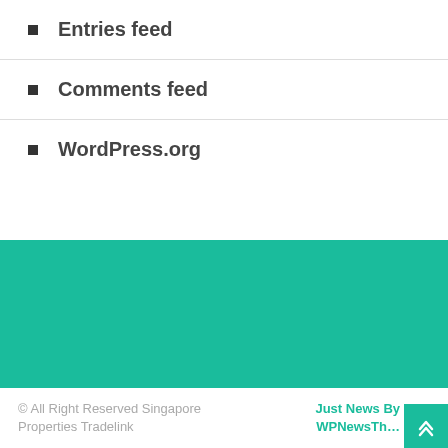Entries feed
Comments feed
WordPress.org
[Figure (screenshot): Search box with placeholder text 'search now' and a teal search button with magnifying glass icon]
[Figure (other): Teal/green decorative block filling full width]
© All Right Reserved Singapore Properties Tradelink   Just News By WPNewsThemes